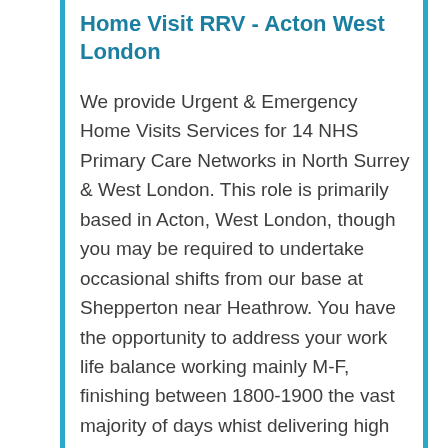Home Visit RRV - Acton West London
We provide Urgent & Emergency Home Visits Services for 14 NHS Primary Care Networks in North Surrey & West London. This role is primarily based in Acton, West London, though you may be required to undertake occasional shifts from our base at Shepperton near Heathrow. You have the opportunity to address your work life balance working mainly M-F, finishing between 1800-1900 the vast majority of days whist delivering high quality care